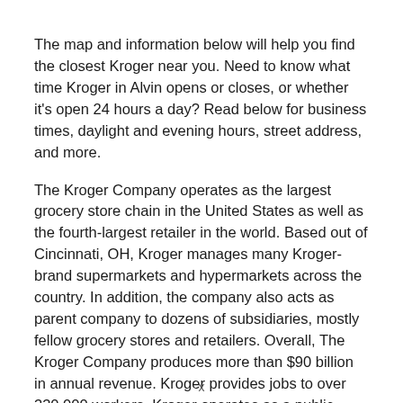The map and information below will help you find the closest Kroger near you. Need to know what time Kroger in Alvin opens or closes, or whether it's open 24 hours a day? Read below for business times, daylight and evening hours, street address, and more.
The Kroger Company operates as the largest grocery store chain in the United States as well as the fourth-largest retailer in the world. Based out of Cincinnati, OH, Kroger manages many Kroger-brand supermarkets and hypermarkets across the country. In addition, the company also acts as parent company to dozens of subsidiaries, mostly fellow grocery stores and retailers. Overall, The Kroger Company produces more than $90 billion in annual revenue. Kroger provides jobs to over 330,000 workers. Kroger operates as a public company, trading on the New York Stock Exchange under the ticker